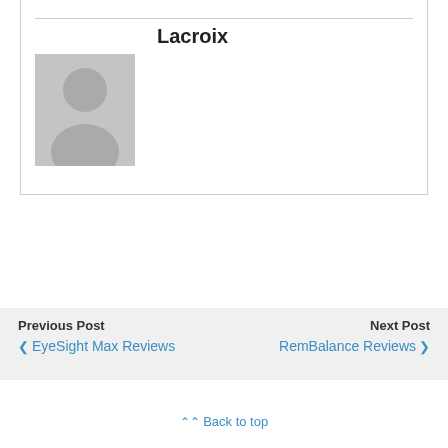Lacroix
[Figure (photo): Default user avatar placeholder — grey silhouette of a person on grey background]
Previous Post
‹ EyeSight Max Reviews
Next Post
RemBalance Reviews ›
Back to top